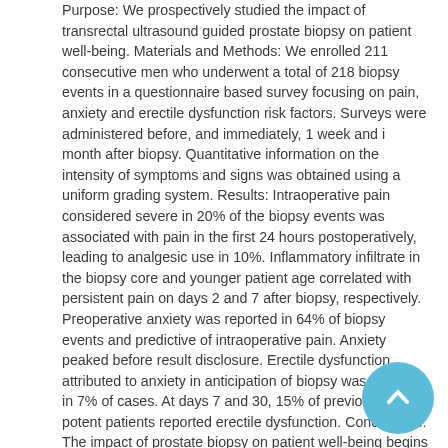Purpose: We prospectively studied the impact of transrectal ultrasound guided prostate biopsy on patient well-being. Materials and Methods: We enrolled 211 consecutive men who underwent a total of 218 biopsy events in a questionnaire based survey focusing on pain, anxiety and erectile dysfunction risk factors. Surveys were administered before, and immediately, 1 week and 1 month after biopsy. Quantitative information on the intensity of symptoms and signs was obtained using a uniform grading system. Results: Intraoperative pain considered severe in 20% of the biopsy events was associated with pain in the first 24 hours postoperatively, leading to analgesic use in 10%. Inflammatory infiltrate in the biopsy core and younger patient age correlated with persistent pain on days 2 and 7 after biopsy, respectively. Preoperative anxiety was reported in 64% of biopsy events and predictive of intraoperative pain. Anxiety peaked before result disclosure. Erectile dysfunction attributed to anxiety in anticipation of biopsy was reported in 7% of cases. At days 7 and 30, 15% of previously potent patients reported erectile dysfunction. Conclusions: The impact of prostate biopsy on patient well-being begins while waiting for the scheduled procedure. Shortening the anticipation period before results are disclosed and administering pre-biopsy anxiety decreasing measures may benefit patients. Analgesic therapy is
[Figure (other): Circular scroll-to-top button with upward arrow, light blue background, positioned bottom-right corner]